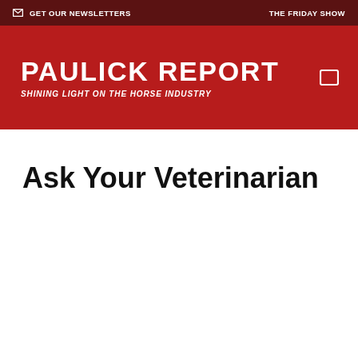GET OUR NEWSLETTERS   THE FRIDAY SHOW
[Figure (logo): Paulick Report logo — white bold uppercase text on dark red background with tagline 'SHINING LIGHT ON THE HORSE INDUSTRY']
Ask Your Veterinarian